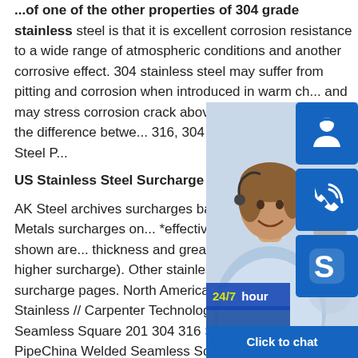...of one of the other properties of 304 grade stainless steel is that it is excellent corrosion resistance to a wide range of atmospheric conditions and another corrosive effect. 304 stainless steel may suffer from pitting and corrosion when introduced in warm ch... and may stress corrosion crack above... when we consider the difference betwe... 316, 304 201 304 Ss Stainless Steel P...
US Stainless Steel Surcharge and H...
AK Steel archives surcharges back to... website. Brown Metals surcharges on... *effective 7/2010, AK prices shown are... thickness and greater only (thinner has higher surcharge). Other stainless steel producer surcharge pages. North American Stainless // Universal Stainless // Carpenter Technology // Schmolz. Welded Seamless Square 201 304 316 Stainless Steel PipeChina Welded Seamless Square 201 304 316 Stainless Steel Pipe, Find details about China Steel Square Tube, Steel Square Pipe from
[Figure (photo): Customer service representative photo with 24/7 hour label and blue icon buttons for headset, phone, and Skype, plus a Click to chat bar]